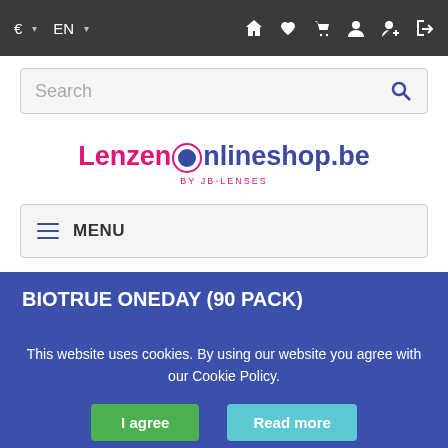€ ▾ EN ▾ [home] [heart] [cart] [user] [user+] [login]
[Figure (screenshot): Search bar with placeholder text 'Search' and a blue magnifying glass icon on the right]
[Figure (logo): LenzenOnlineshop.be logo with pink 'Lenzen', blue circle O, blue 'nlineshop.be', and pink 'by JB-LENSES' byline]
≡ MENU
BIOTRUE ONEDAY (90 PACK)
This website uses cookies. By using our website you agree with our Cookie Policy.
I agree   Read more